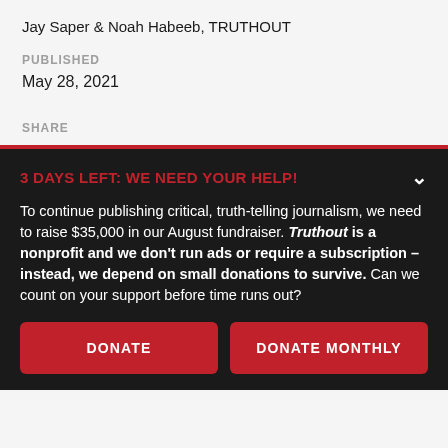Jay Saper & Noah Habeeb, TRUTHOUT
PUBLISHED
May 28, 2021
SHARE
3 DAYS LEFT: WE NEED YOUR HELP!
To continue publishing critical, truth-telling journalism, we need to raise $35,000 in our August fundraiser. Truthout is a nonprofit and we don't run ads or require a subscription – instead, we depend on small donations to survive. Can we count on your support before time runs out?
DONATE
DONATE MONTHLY